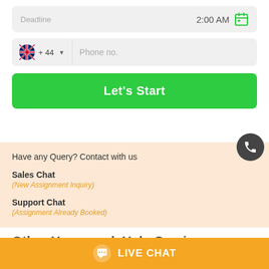[Figure (screenshot): Deadline input field showing 2:00 AM with calendar icon]
[Figure (screenshot): Phone number input field with UK flag and +44 country code]
Let's Start
[Figure (other): Dark circular call/phone floating action button]
Have any Query? Contact with us
Sales Chat
(New Assignment Inquiry)
Support Chat
(Assignment Already Booked)
Other Homework Help Services
LIVE CHAT